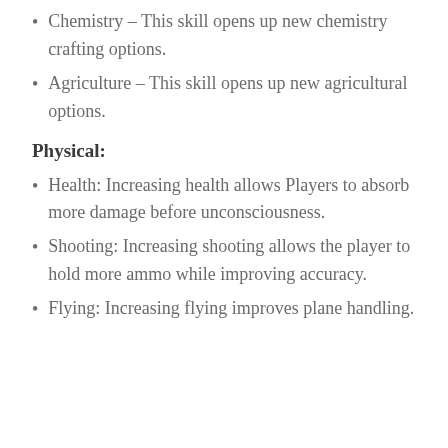Chemistry – This skill opens up new chemistry crafting options.
Agriculture – This skill opens up new agricultural options.
Physical:
Health: Increasing health allows Players to absorb more damage before unconsciousness.
Shooting: Increasing shooting allows the player to hold more ammo while improving accuracy.
Flying: Increasing flying improves plane handling.